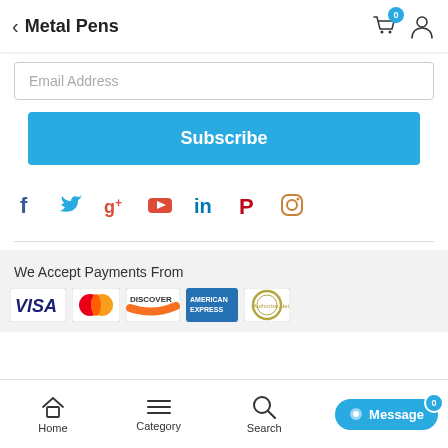Metal Pens
Email Address
Subscribe
[Figure (infographic): Social media icons: Facebook (blue f), Twitter (blue bird), Google+ (red g+), YouTube (red play), LinkedIn (blue in), Pinterest (red P), Instagram (orange camera)]
We Accept Payments From
[Figure (infographic): Payment logos: VISA (blue/yellow), MasterCard (red/orange circles), Discover (orange), American Express (blue), Authorize.Net (gold circle)]
Home  Category  Search  Message